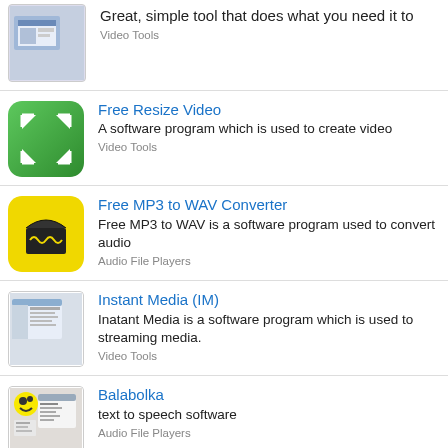[Figure (screenshot): Software screenshot thumbnail]
Great, simple tool that does what you need it to
Video Tools
[Figure (illustration): Free Resize Video app icon - green rounded square with resize arrows]
Free Resize Video
A software program which is used to create video
Video Tools
[Figure (illustration): Free MP3 to WAV Converter icon - yellow square with black box graphic]
Free MP3 to WAV Converter
Free MP3 to WAV is a software program used to convert audio
Audio File Players
[Figure (screenshot): Instant Media IM software screenshot thumbnail]
Instant Media (IM)
Inatant Media is a software program which is used to streaming media.
Video Tools
[Figure (screenshot): Balabolka software screenshot thumbnail]
Balabolka
text to speech software
Audio File Players
[Figure (screenshot): Any Medias to Mp3 Converter screenshot thumbnail]
Any Medias to Mp3 Converter